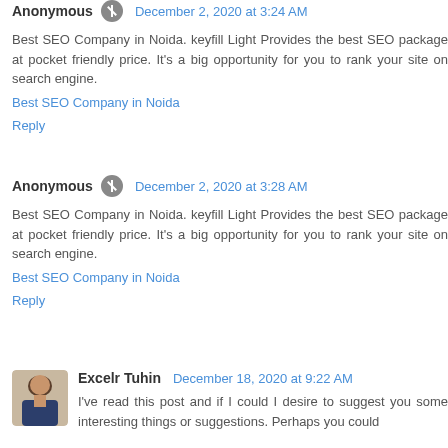Anonymous · December 2, 2020 at 3:24 AM
Best SEO Company in Noida. keyfill Light Provides the best SEO package at pocket friendly price. It's a big opportunity for you to rank your site on search engine.
Best SEO Company in Noida
Reply
Anonymous · December 2, 2020 at 3:28 AM
Best SEO Company in Noida. keyfill Light Provides the best SEO package at pocket friendly price. It's a big opportunity for you to rank your site on search engine.
Best SEO Company in Noida
Reply
Excelr Tuhin · December 18, 2020 at 9:22 AM
I've read this post and if I could I desire to suggest you some interesting things or suggestions. Perhaps you could